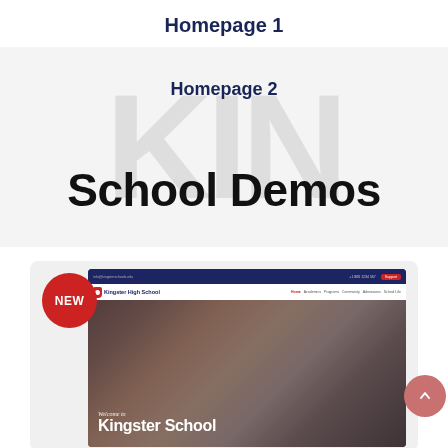Homepage 1
[Figure (screenshot): Large banner section with light gray background featuring 'KIN' watermark text, containing 'Homepage 2' label at top and 'School Demos' heading at bottom]
Homepage 2
School Demos
[Figure (screenshot): Website preview of Kingster High School with a NEW badge, showing a school website with navigation bar and hero image of students smiling. Text reads 'Welcome to Kingster School']